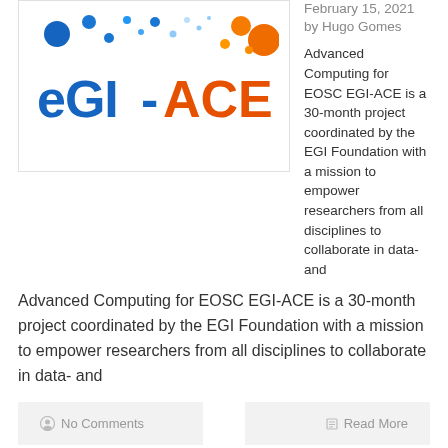[Figure (logo): EGI-ACE logo with blue and orange dots and bold text 'eGI-ACE' in blue and orange]
February 15, 2021 by Hugo Gomes
Advanced Computing for EOSC EGI-ACE is a 30-month project coordinated by the EGI Foundation with a mission to empower researchers from all disciplines to collaborate in data- and
Advanced Computing for EOSC EGI-ACE is a 30-month project coordinated by the EGI Foundation with a mission to empower researchers from all disciplines to collaborate in data- and
No Comments
Read More
[Figure (logo): EOSC Synergy logo with overlapping green, red, and blue rings and text 'EOSC SYNERGY']
EOSC-synergy
Posted on
March 11, 2019